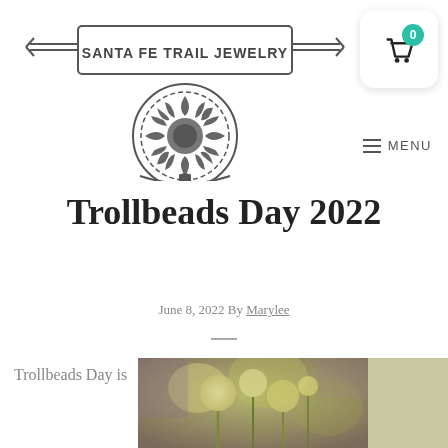[Figure (logo): Santa Fe Trail Jewelry logo with decorative banner frame and sunflower/gear emblem]
[Figure (other): Shopping cart button with teal badge showing 0]
≡ MENU
Trollbeads Day 2022
June 8, 2022 By Marylee
Trollbeads Day is